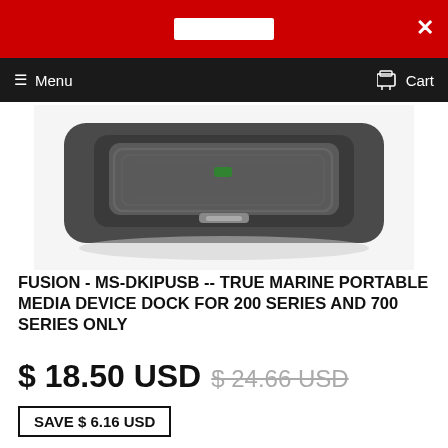Menu   Cart
[Figure (photo): Fusion MS-DKIPUSB marine portable media device dock — dark gray rectangular dock unit viewed from above, showing rubberized cradle area]
FUSION - MS-DKIPUSB -- TRUE MARINE PORTABLE MEDIA DEVICE DOCK FOR 200 SERIES AND 700 SERIES ONLY
$ 18.50 USD  $ 24.66 USD
SAVE $ 6.16 USD